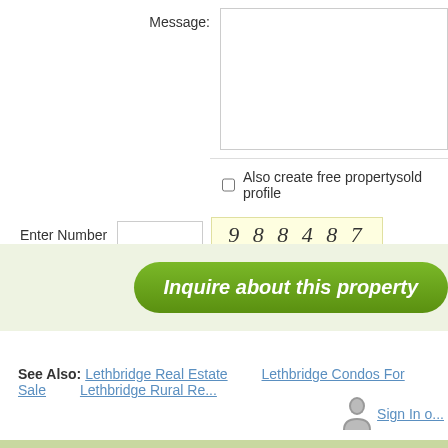Message:
Also create free propertysold profile
Enter Number  9 8 8 4 8 7
Inquire about this property
See Also: Lethbridge Real Estate   Lethbridge Condos For Sale   Lethbridge Rural Re...
Sign In o...